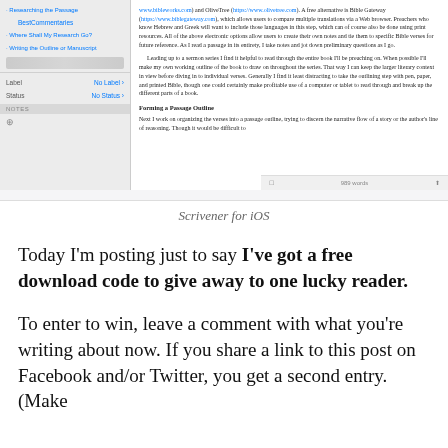[Figure (screenshot): Screenshot of Scrivener for iOS app showing a document sidebar with outline items (Researching the Passage, BestCommentaries, Where Shall My Research Go?, Writing the Outline or Manuscript) and a content pane with text about Bible study tools and forming a passage outline.]
Scrivener for iOS
Today I’m posting just to say I’ve got a free download code to give away to one lucky reader.
To enter to win, leave a comment with what you’re writing about now. If you share a link to this post on Facebook and/or Twitter, you get a second entry. (Make